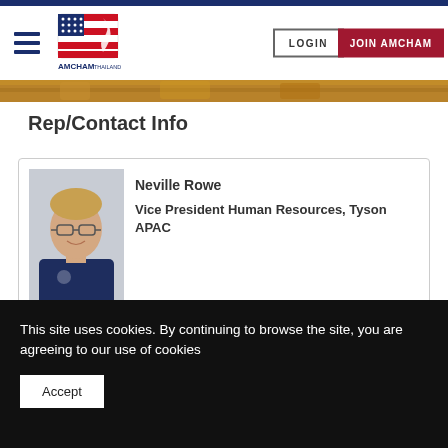AMCHAM Thailand — LOGIN | JOIN AMCHAM
[Figure (photo): Food/ingredient image strip — partially visible at top]
Rep/Contact Info
[Figure (photo): Headshot of Neville Rowe, a man with glasses wearing a navy blue polo shirt, against a neutral background]
Neville Rowe
Vice President Human Resources, Tyson APAC
This site uses cookies. By continuing to browse the site, you are agreeing to our use of cookies